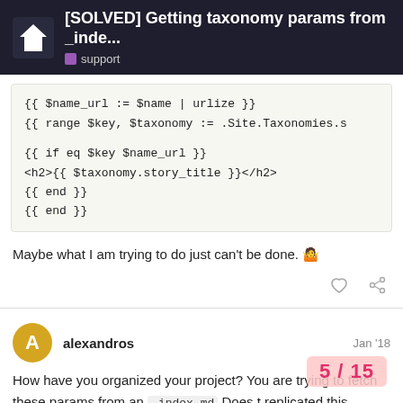[SOLVED] Getting taxonomy params from _inde... support
{{ $name_url := $name | urlize }}
  {{ range $key, $taxonomy := .Site.Taxonomies.s

{{ if eq $key $name_url }}
<h2>{{ $taxonomy.story_title }}</h2>
{{ end }}
{{ end }}
Maybe what I am trying to do just can't be done. 🤷
alexandros Jan '18
How have you organized your project? You are trying to fetch these params from an _index.md Does t replicated this taxonomy as a folder structu